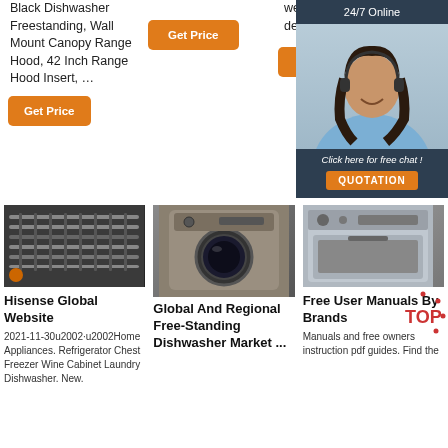Black Dishwasher Freestanding, Wall Mount Canopy Range Hood, 42 Inch Range Hood Insert, …
Get Price
Get Price
Get Price
[Figure (photo): Chat widget with 24/7 Online support agent photo, dark blue background, Click here for free chat, QUOTATION button]
[Figure (photo): Industrial dishwasher interior showing racks]
[Figure (photo): Front-loading washing machine, bronze/gray color]
[Figure (photo): Silver/stainless appliance]
Hisense Global Website
2021-11-30u2002·u2002Home Appliances. Refrigerator Chest Freezer Wine Cabinet Laundry Dishwasher. New.
Global And Regional Free-Standing Dishwasher Market ...
Free User Manuals By Brands
Manuals and free owners instruction pdf guides. Find the